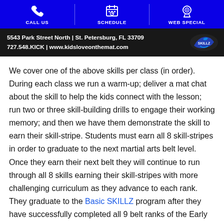CALL US | SCHEDULE | WEB SPECIAL
[Figure (infographic): Black banner with address: 5543 Park Street North | St. Petersburg, FL 33709  727.548.KICK | www.kidsloveonthemat.com, with a logo on the right]
We cover one of the above skills per class (in order).  During each class we run a warm-up; deliver a mat chat about the skill to help the kids connect with the lesson; run two or three skill-building drills to engage their working memory; and then we have them demonstrate the skill to earn their skill-stripe. Students must earn all 8 skill-stripes in order to graduate to the next martial arts belt level. Once they earn their next belt they will continue to run through all 8 skills earning their skill-stripes with more challenging curriculum as they advance to each rank. They graduate to the Basic SKILLZ program after they have successfully completed all 9 belt ranks of the Early SKILLZ program.